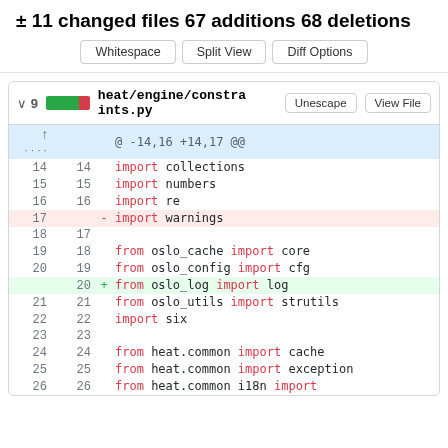± 11 changed files 67 additions 68 deletions
Whitespace | Split View | Diff Options
heat/engine/constraints.py
| old | new | sign | code |
| --- | --- | --- | --- |
|  |  |  | @ -14,16 +14,17 @@ |
| 14 | 14 |  | import collections |
| 15 | 15 |  | import numbers |
| 16 | 16 |  | import re |
| 17 |  | - | import warnings |
| 18 | 17 |  |  |
| 19 | 18 |  | from oslo_cache import core |
| 20 | 19 |  | from oslo_config import cfg |
|  | 20 | + | from oslo_log import log |
| 21 | 21 |  | from oslo_utils import strutils |
| 22 | 22 |  | import six |
| 23 | 23 |  |  |
| 24 | 24 |  | from heat.common import cache |
| 25 | 25 |  | from heat.common import exception |
| 26 | 26 |  | from heat.common i18n import |